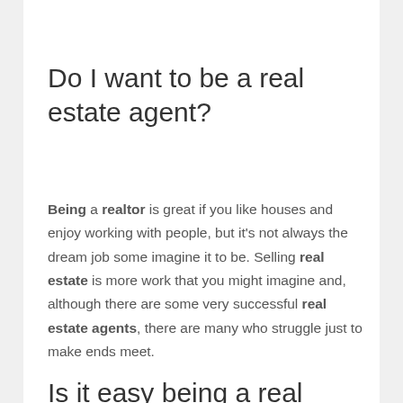Do I want to be a real estate agent?
Being a realtor is great if you like houses and enjoy working with people, but it's not always the dream job some imagine it to be. Selling real estate is more work that you might imagine and, although there are some very successful real estate agents, there are many who struggle just to make ends meet.
Is it easy being a real estate agent?